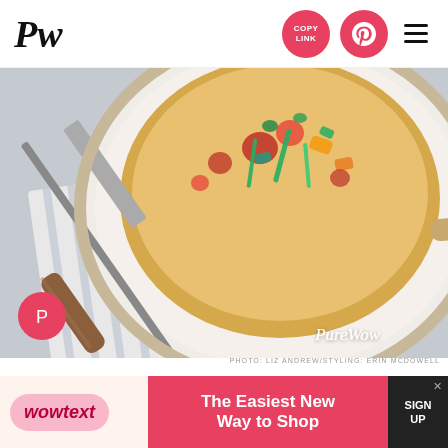PW | COPY LINK | [Pinterest] | [Menu]
[Figure (photo): Overhead photo of a buttermilk skillet cornbread topped with colorful tomatoes and scallions in a white skillet, with a knife on a striped linen beside it. PureWow watermark visible bottom-right.]
PHOTO: LIZ ANDREW/STYLING: ERIN MCDOWELL
1. Buttermilk Skillet Cornbread With Tomatoes And Scallions
Think of this as the dinner-party-ready upgrade to traditional cornbread. The buttermilk makes it tangy and tender, and the colorful toppings make it shine.
[Figure (other): Advertisement banner: wowtext logo with 'The Easiest New Way to Shop' and SIGN UP button]